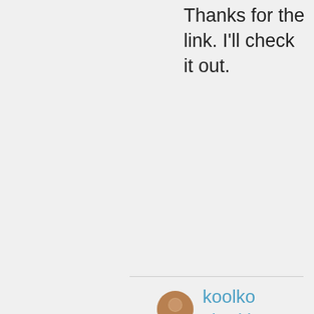Thanks for the link. I'll check it out.
★ Liked by 1 person
[Figure (photo): Small circular avatar of a person, appears to be a woman]
koolkosherkitchen on March